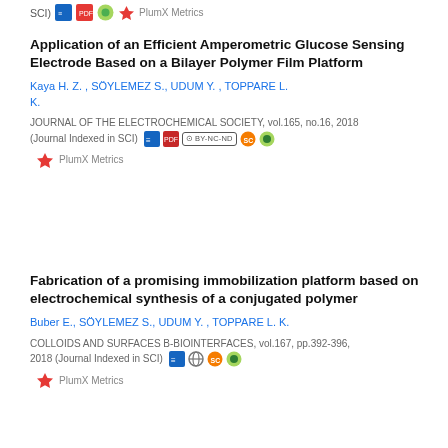SCI) [icons] PlumX Metrics
Application of an Efficient Amperometric Glucose Sensing Electrode Based on a Bilayer Polymer Film Platform
Kaya H. Z. , SÖYLEMEZ S., UDUM Y. , TOPPARE L. K.
JOURNAL OF THE ELECTROCHEMICAL SOCIETY, vol.165, no.16, 2018 (Journal Indexed in SCI)
Fabrication of a promising immobilization platform based on electrochemical synthesis of a conjugated polymer
Buber E., SÖYLEMEZ S., UDUM Y. , TOPPARE L. K.
COLLOIDS AND SURFACES B-BIOINTERFACES, vol.167, pp.392-396, 2018 (Journal Indexed in SCI)